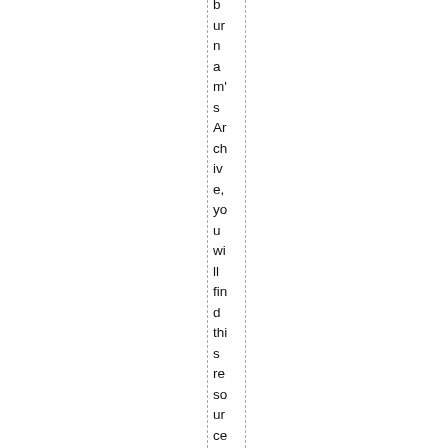burnams Archive, you will find this resource. Here you will f